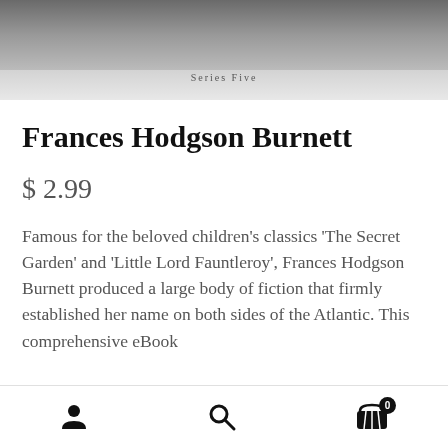[Figure (photo): Black and white photo of a person, cropped to show top portion only, with 'Series Five' text on light gray band below]
Frances Hodgson Burnett
$ 2.99
Famous for the beloved children's classics 'The Secret Garden' and 'Little Lord Fauntleroy', Frances Hodgson Burnett produced a large body of fiction that firmly established her name on both sides of the Atlantic. This comprehensive eBook